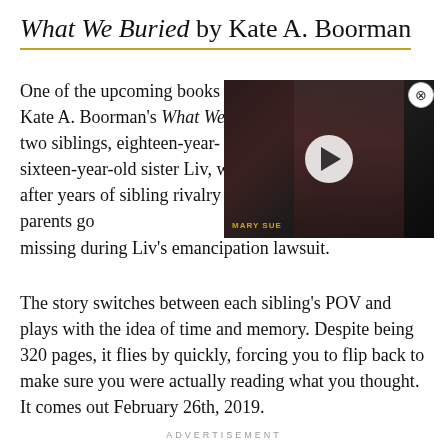What We Buried by Kate A. Boorman
One of the upcoming books Kate A. Boorman's What We two siblings, eighteen-year- sixteen-year-old sister Liv, w after years of sibling rivalry when their parents go missing during Liv's emancipation lawsuit.
[Figure (screenshot): Video player overlay showing a young woman in a dark scene, with a play button in the center and a Mary Sue watermark at the bottom]
The story switches between each sibling's POV and plays with the idea of time and memory. Despite being 320 pages, it flies by quickly, forcing you to flip back to make sure you were actually reading what you thought. It comes out February 26th, 2019.
ADVERTISEMENT